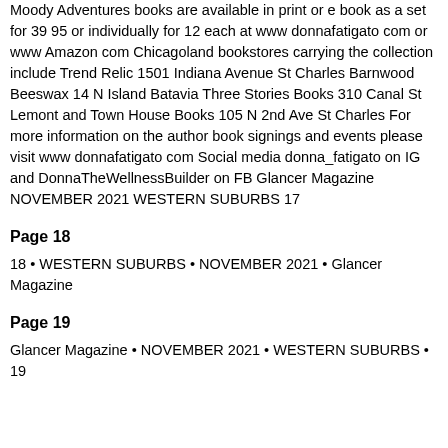Moody Adventures books are available in print or e book as a set for 39 95 or individually for 12 each at www donnafatigato com or www Amazon com Chicagoland bookstores carrying the collection include Trend Relic 1501 Indiana Avenue St Charles Barnwood Beeswax 14 N Island Batavia Three Stories Books 310 Canal St Lemont and Town House Books 105 N 2nd Ave St Charles For more information on the author book signings and events please visit www donnafatigato com Social media donna_fatigato on IG and DonnaTheWellnessBuilder on FB Glancer Magazine NOVEMBER 2021 WESTERN SUBURBS 17
Page 18
18 • WESTERN SUBURBS • NOVEMBER 2021 • Glancer Magazine
Page 19
Glancer Magazine • NOVEMBER 2021 • WESTERN SUBURBS • 19